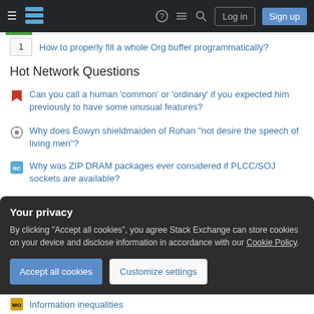Stack Exchange navigation bar with Log in and Sign up buttons
1   How to properly fill a whole Org buffer programmatically?
Hot Network Questions
Can you call a human 'common' or 'ordinary' if you expected him previously to have some unusual features?
Why does Éowyn shieldmaiden of Rohan "not desire the speech of living men"?
Why was ZIP DRAM packages ever considered if PLCC/SOJ sockets are available?
Creating Picture-in-Picture functionality by Attaching a Notebook to a Notebook using AttachCell[]
Your privacy
By clicking "Accept all cookies", you agree Stack Exchange can store cookies on your device and disclose information in accordance with our Cookie Policy.
Information inequalities